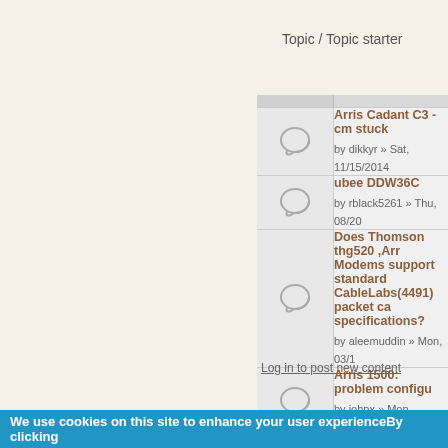Topic / Topic starter
|  | Topic / Topic starter |
| --- | --- |
| [icon] | Arris Cadant C3 - cm stuck
by dikkyr » Sat, 11/15/2014 |
| [icon] | ubee DDW36C
by rblack5261 » Thu, 08/20 |
| [icon] | Does Thomson thg520 ,Arr Modems support standard CableLabs(4491) packet ca specifications?
by aleemuddin » Mon, 03/1 |
| [icon] | Arris 1500: problem configu
by johnx » Mon, 06/07/2010 |
| [icon] | WTS: Arris C4 CMTS with P 2D24U, SCMII
by 71kurt » Tue, 04/16/2013 |
Log in to post new content
We use cookies on this site to enhance your user experienceBy clicking